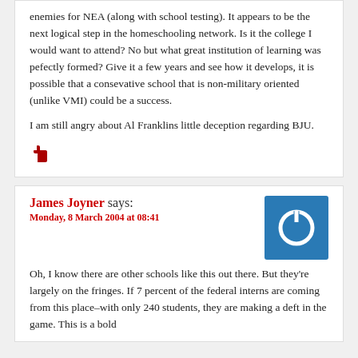enemies for NEA (along with school testing). It appears to be the next logical step in the homeschooling network. Is it the college I would want to attend? No but what great institution of learning was pefectly formed? Give it a few years and see how it develops, it is possible that a consevative school that is non-military oriented (unlike VMI) could be a success.

I am still angry about Al Franklins little deception regarding BJU.
[Figure (illustration): Red thumbs up icon]
James Joyner says:
Monday, 8 March 2004 at 08:41
[Figure (illustration): Blue square with white power/on button icon]
Oh, I know there are other schools like this out there. But they're largely on the fringes. If 7 percent of the federal interns are coming from this place–with only 240 students, they are making a deft in the game. This is a bold